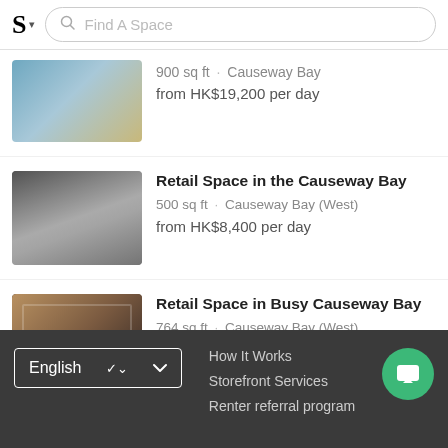S ▾  Find A Space
[Figure (photo): Interior of a retail/cafe space with shelving, chairs, and plants - partial view]
900 sq ft · Causeway Bay
from HK$19,200 per day
[Figure (photo): Interior of a clothing retail store with racks of dark garments and pendant lighting]
Retail Space in the Causeway Bay
500 sq ft · Causeway Bay (West)
from HK$8,400 per day
[Figure (photo): Exterior/window view of a retail space with glass facade and warm interior lighting]
Retail Space in Busy Causeway Bay
764 sq ft · Causeway Bay (West)
from HK$8,400 per day
English ▾   How It Works   Storefront Services   Renter referral program